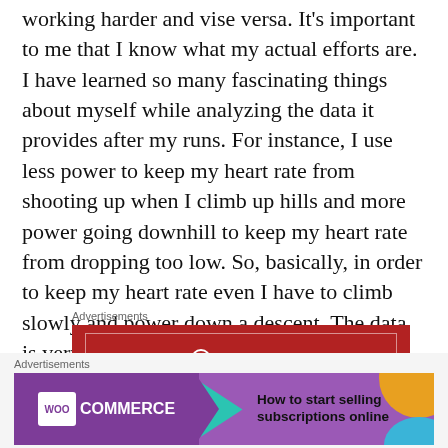working harder and vise versa. It's important to me that I know what my actual efforts are. I have learned so many fascinating things about myself while analyzing the data it provides after my runs. For instance, I use less power to keep my heart rate from shooting up when I climb up hills and more power going downhill to keep my heart rate from dropping too low. So, basically, in order to keep my heart rate even I have to climb slowly and power down a descent. The data is very interesting.
[Figure (screenshot): Longreads advertisement banner with red background, white border, circular logo, and tagline 'The best stories on the web — ours, and everyone else's.']
etween eating a regimen conducive to
[Figure (screenshot): WooCommerce advertisement banner with purple background, teal arrow, orange and blue decorative shapes, and text 'How to start selling subscriptions online']